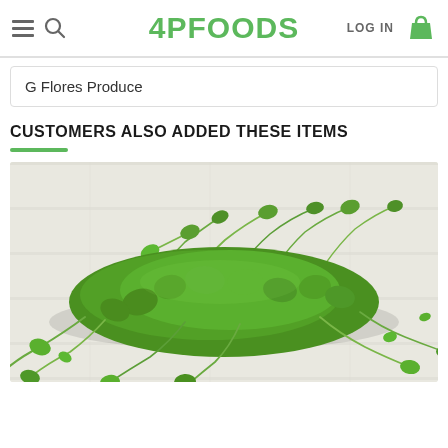4PFOODS — LOG IN — Navigation bar with hamburger menu, search, logo, login, cart
G Flores Produce
CUSTOMERS ALSO ADDED THESE ITEMS
[Figure (photo): A pile of fresh green pea shoots / microgreens on a white wooden surface]